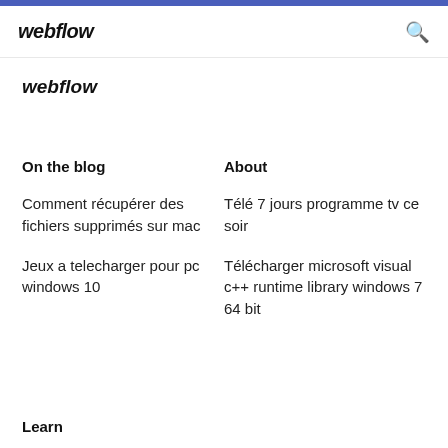webflow
webflow
On the blog
About
Comment récupérer des fichiers supprimés sur mac
Télé 7 jours programme tv ce soir
Jeux a telecharger pour pc windows 10
Télécharger microsoft visual c++ runtime library windows 7 64 bit
Learn